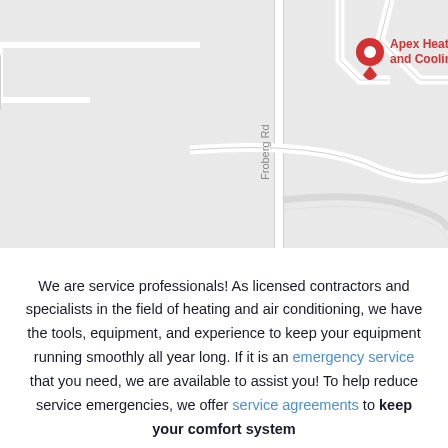[Figure (map): Google Maps screenshot showing location of Apex Heating and Cooling with a red pin marker, with Froberg Rd visible as a vertical road label, light grey map background with road outlines.]
We are service professionals! As licensed contractors and specialists in the field of heating and air conditioning, we have the tools, equipment, and experience to keep your equipment running smoothly all year long. If it is an emergency service that you need, we are available to assist you! To help reduce service emergencies, we offer service agreements to keep your comfort system